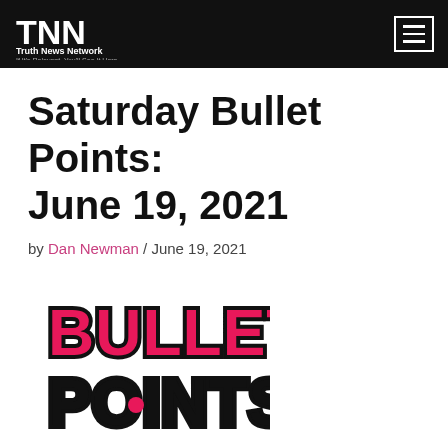Truth News Network — If It's Relevant, You'll See It Here
Saturday Bullet Points: June 19, 2021
by Dan Newman / June 19, 2021
[Figure (logo): BULLET POINTS logo in bold pink and black lettering]